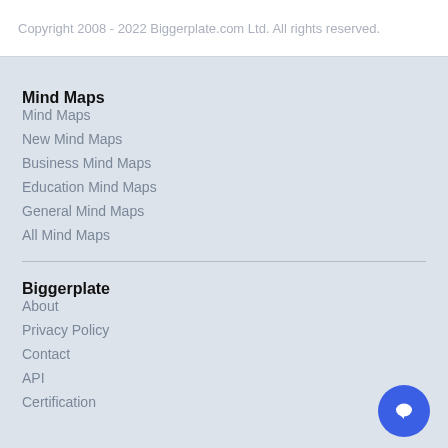Copyright 2008 - 2022 Biggerplate.com Ltd. All rights reserved.
Mind Maps
Mind Maps
New Mind Maps
Business Mind Maps
Education Mind Maps
General Mind Maps
All Mind Maps
Biggerplate
About
Privacy Policy
Contact
API
Certification